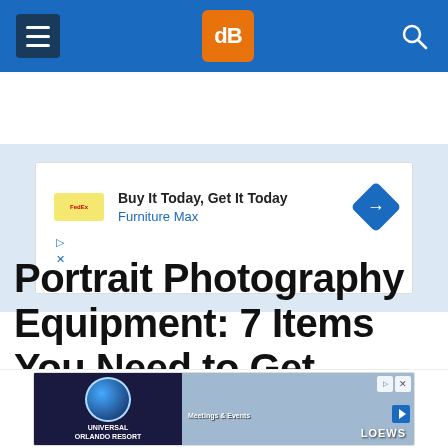dPS (digital Photography School) navigation header
[Figure (screenshot): Advertisement banner: Buy It Today, Get It Today - Furniture Max]
Portrait Photography Equipment: 7 Items You Need to Get Started
[Figure (screenshot): Advertisement banner: Universal Orlando Resort - Meetings & Events, LOEWS]